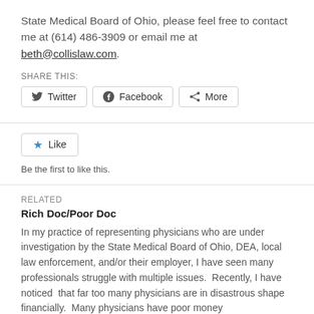State Medical Board of Ohio, please feel free to contact me at (614) 486-3909 or email me at beth@collislaw.com.
SHARE THIS:
[Figure (other): Social sharing buttons: Twitter, Facebook, More]
[Figure (other): Like button with blue star icon]
Be the first to like this.
RELATED
Rich Doc/Poor Doc
In my practice of representing physicians who are under investigation by the State Medical Board of Ohio, DEA, local law enforcement, and/or their employer, I have seen many professionals struggle with multiple issues.  Recently, I have noticed  that far too many physicians are in disastrous shape financially.  Many physicians have poor money